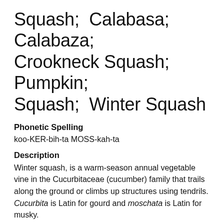Squash; Calabasa; Calabaza; Crookneck Squash; Pumpkin; Squash; Winter Squash
Phonetic Spelling
koo-KER-bih-ta MOSS-kah-ta
Description
Winter squash, is a warm-season annual vegetable vine in the Cucurbitaceae (cucumber) family that trails along the ground or climbs up structures using tendrils. Cucurbita is Latin for gourd and moschata is Latin for musky.
Native to Central and South America, winter squash is an aggressive grower and prefers moderately moist soil with full access to sunlight.
It has yellow fruit-bearing flowers that are produced